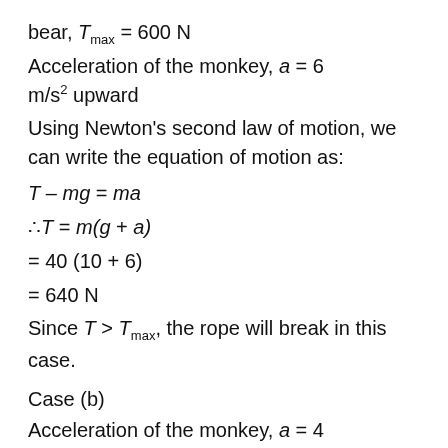bear, T_max = 600 N
Acceleration of the monkey, a = 6 m/s² upward
Using Newton's second law of motion, we can write the equation of motion as:
Since T > T_max, the rope will break in this case.
Case (b)
Acceleration of the monkey, a = 4 m/s² downward